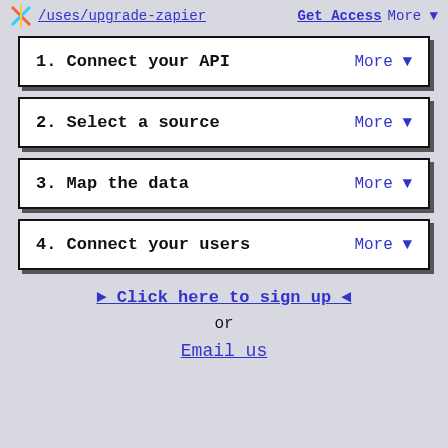/uses/upgrade-zapier  Get Access  More ▼
1. Connect your API   More ▼
2. Select a source   More ▼
3. Map the data   More ▼
4. Connect your users   More ▼
► Click here to sign up ◄
or
Email us